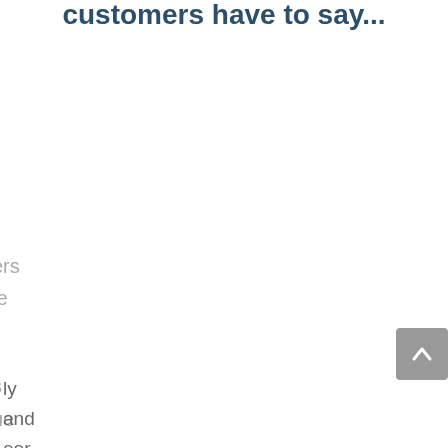customers have to say...
ers
le
.
s
ue
ly
and
eer